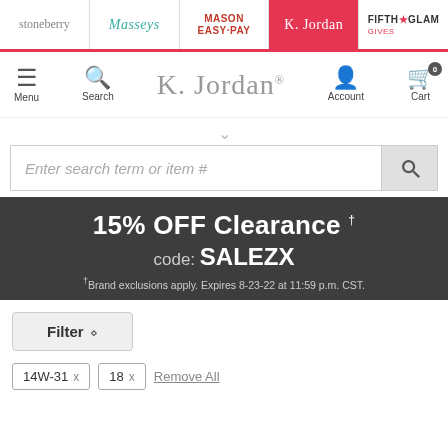stoneberry | Masseys | MASON EASY-PAY | K. Jordan | FIFTH GLAM
[Figure (screenshot): K. Jordan website navigation bar with logo, Menu, Search, Account, Cart icons]
[Figure (screenshot): Search bar with placeholder text 'Enter search term or item #' and search button]
15% OFF Clearance
code: SALEZX
†Brand exclusions apply. Expires 8-23-22 at 11:59 p.m. CST.
Filter ⬦
14W-31 x   18 x   Remove All